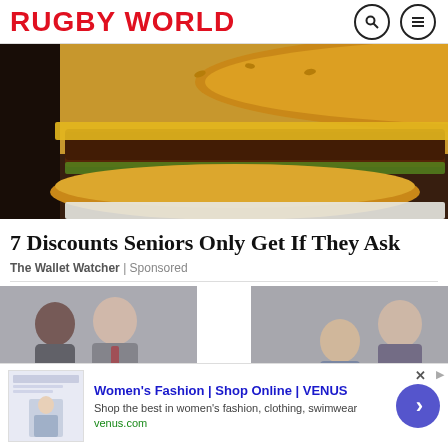RUGBY WORLD
[Figure (photo): Close-up photo of a cheeseburger with melted cheese and toppings on a bun, served on white paper]
7 Discounts Seniors Only Get If They Ask
The Wallet Watcher | Sponsored
[Figure (photo): Two side-by-side photos of groups of professional people, men and women in business attire, smiling]
[Figure (screenshot): Advertisement: Women's Fashion | Shop Online | VENUS. Shop the best in women's fashion, clothing, swimwear. venus.com]